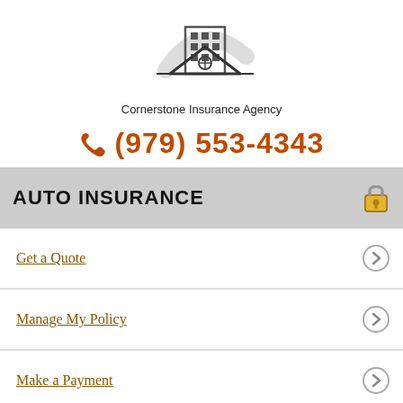[Figure (logo): Cornerstone Insurance Agency logo: building with roof and compass symbol]
Cornerstone Insurance Agency
(979) 553-4343
AUTO INSURANCE
Get a Quote
Manage My Policy
Make a Payment
What is auto insurance?
Auto insurance protects you against financial loss if you have an accident. It is a contract between you and the insurance company. You agree to pay the premium and the insurance company agrees to pay your losses as defined in your policy.
Auto insurance provides property, liability and medical coverage: